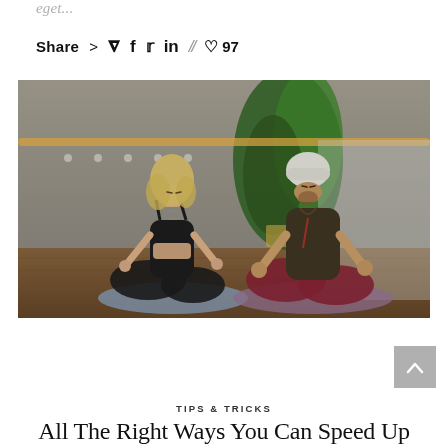eget...
Share > P f t in // ♡ 97
[Figure (photo): Two people sitting in lotus meditation pose on yoga mats in a studio, with large tropical plant in background and ballet barre rail on wall. Woman with blonde curly hair in black sports outfit on left; man with beanie hat in dark tank and maroon pants on right.]
TIPS & TRICKS
All The Right Ways You Can Speed Up